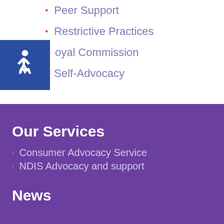Peer Support
Restrictive Practices
Royal Commission
Self-Advocacy
Our Services
Consumer Advocacy Service
NDIS Advocacy and support
News